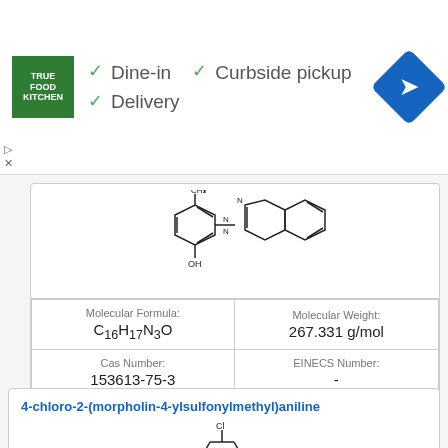[Figure (screenshot): Advertisement banner for True Food Kitchen showing logo, checkmarks for Dine-in, Curbside pickup, Delivery, and a navigation icon]
[Figure (illustration): Chemical structure of a molecule containing a benzotriazole ring connected to a hydroxymethylbenzene moiety with a methyl substituent]
| Molecular Formula | Molecular Weight | Cas Number | EINECS Number |
| --- | --- | --- | --- |
| C16H17N3O | 267.331 g/mol | 153613-75-3 | - |
4-chloro-2-(morpholin-4-ylsulfonylmethyl)aniline
[Figure (illustration): Partial chemical structure showing a chloro-substituted benzene ring (top portion visible)]